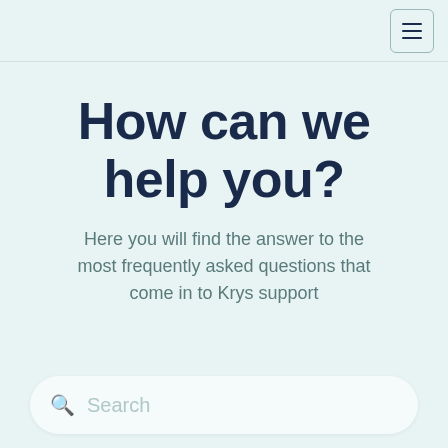Navigation bar with hamburger menu icon
How can we help you?
Here you will find the answer to the most frequently asked questions that come in to Krys support